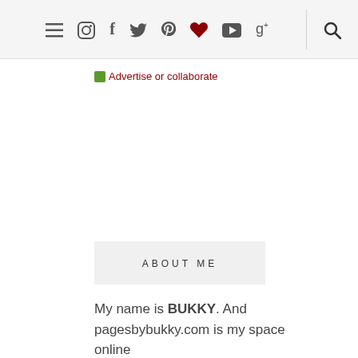Navigation bar with menu, instagram, facebook, twitter, pinterest, heart, youtube, google+, search icons
Advertise or collaborate
ABOUT ME
My name is BUKKY. And pagesbybukky.com is my space online